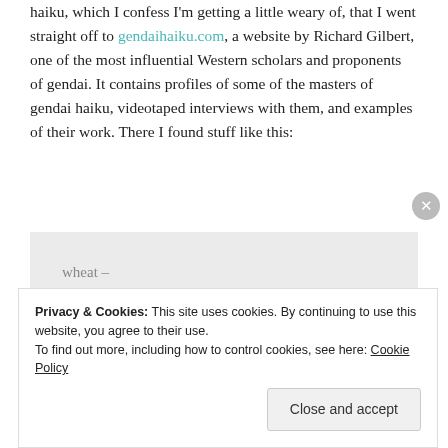haiku, which I confess I'm getting a little weary of, that I went straight off to gendaihaiku.com, a website by Richard Gilbert, one of the most influential Western scholars and proponents of gendai. It contains profiles of some of the masters of gendai haiku, videotaped interviews with them, and examples of their work. There I found stuff like this:
wheat –
realizing death as one color
gold
Privacy & Cookies: This site uses cookies. By continuing to use this website, you agree to their use.
To find out more, including how to control cookies, see here: Cookie Policy
Close and accept